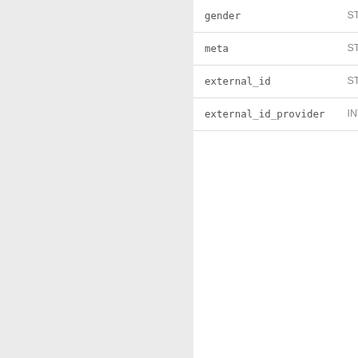| Field | Type |
| --- | --- |
| gender | STRING |
| meta | STRING |
| external_id | STRING |
| external_id_provider | INTEGER |